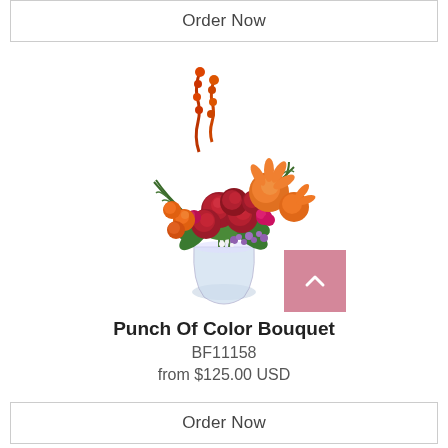Order Now
[Figure (photo): Punch Of Color Bouquet floral arrangement: red and orange roses, orange lilies, red snapdragons, fern fronds, and purple wildflowers in a clear glass vase]
Punch Of Color Bouquet
BF11158
from $125.00 USD
Order Now